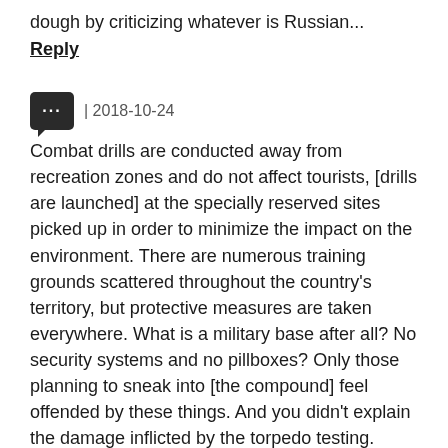dough by criticizing whatever is Russian...
Reply
| 2018-10-24
Combat drills are conducted away from recreation zones and do not affect tourists, [drills are launched] at the specially reserved sites picked up in order to minimize the impact on the environment. There are numerous training grounds scattered throughout the country's territory, but protective measures are taken everywhere. What is a military base after all? No security systems and no pillboxes? Only those planning to sneak into [the compound] feel offended by these things. And you didn't explain the damage inflicted by the torpedo testing. Spent torpedoes are brought back and stored at the facility, they are not wasted on the bottom